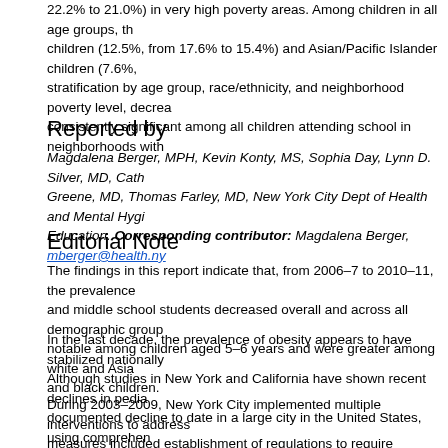22.2% to 21.0%) in very high poverty areas. Among children in all age groups, the prevalence decreased significantly among white children (12.5%, from 17.6% to 15.4%) and Asian/Pacific Islander children (7.6%, from 16.8% to 15.5%). After stratification by age group, race/ethnicity, and neighborhood poverty level, decreases in obesity prevalence were consistently significant among all children attending school in neighborhoods with
Reported by
Magdalena Berger, MPH, Kevin Konty, MS, Sophia Day, Lynn D. Silver, MD, Cath Greene, MD, Thomas Farley, MD, New York City Dept of Health and Mental Hygi Education. Corresponding contributor: Magdalena Berger, mberger@health.ny
Editorial Note
The findings in this report indicate that, from 2006–7 to 2010–11, the prevalence of obesity among elementary and middle school students decreased overall and across all demographic groups. Decreases in obesity prevalence were most notable among children aged 5–6 years and were greater among white and Asian/Pacific Islander children than among Hispanic and black children.
In the last decade, the prevalence of obesity appears to have stabilized nationally after increasing for many years. Although studies in New York and California have shown recent declines in pediatric obesity, this report represents the most documented decline to date in a large city in the United States, using comprehensive data.
During 2003–2009, New York City implemented multiple interventions to address childhood obesity. In child care, these measures included establishment of regulations to require improved nutrition, increased physical activity, and reduced screen time (e.g., video game, television, or computer) in group child care, provision of educational materials and physical activity equipment to 80% of group child care centers, and provision of on-site nutrition education. In schools, nurses were trained to identify and monitor children at high risk for obesity and to counsel parents about healthy behaviors and when to refer children for additional medical care. Nurses also were given information about services and programs offered at schools and in the community. In schools, substantial improvements in nutrition were made, including switching whole milk to 1% fat and skim milk in 2005. The number of middle schools in a breakfast-after-the-bell program was expanded from 40 to 225, and nearly 4,000 elementary classroom teachers were trained in physical activity breaks. Additionally, individualized BMI and fitness reports were sent to